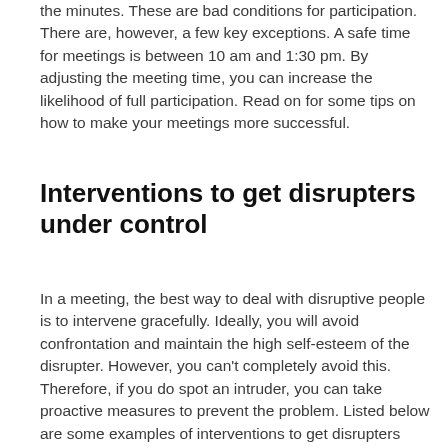the minutes. These are bad conditions for participation. There are, however, a few key exceptions. A safe time for meetings is between 10 am and 1:30 pm. By adjusting the meeting time, you can increase the likelihood of full participation. Read on for some tips on how to make your meetings more successful.
Interventions to get disrupters under control
In a meeting, the best way to deal with disruptive people is to intervene gracefully. Ideally, you will avoid confrontation and maintain the high self-esteem of the disrupter. However, you can't completely avoid this. Therefore, if you do spot an intruder, you can take proactive measures to prevent the problem. Listed below are some examples of interventions to get disrupters under control when leading meetings.
Clarifying your role as a meeting…